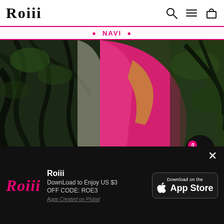Roiii
[Figure (photo): Woman wearing a hot pink/magenta lace dress photographed outdoors among tropical foliage and trees. Shopping cart floating button visible in lower right with badge showing 0.]
Price Down To $4
GET IT NOW
[Figure (infographic): App download banner with Roiii logo, text 'Download to Enjoy US $3 OFF CODE: ROE3', Apple App Store download button, and close X button.]
Roiii
DownLoad to Enjoy US $3
OFF CODE: ROE3
Apps Created on Plobal